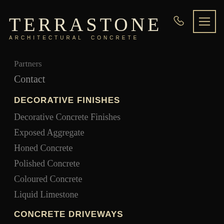[Figure (logo): TERRASTONE ARCHITECTURAL CONCRETE logo in serif font on black background, with phone icon and hamburger menu icon in gold/cream color at top right]
Partners
Contact
DECORATIVE FINISHES
Decorative Concrete Finishes
Exposed Aggregate
Honed Concrete
Polished Concrete
Coloured Concrete
Liquid Limestone
CONCRETE DRIVEWAYS
Concrete Driveways
Exposed Aggregate
Honed Concrete